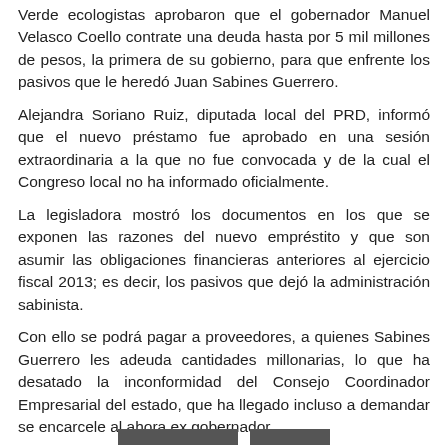Verde ecologistas aprobaron que el gobernador Manuel Velasco Coello contrate una deuda hasta por 5 mil millones de pesos, la primera de su gobierno, para que enfrente los pasivos que le heredó Juan Sabines Guerrero.
Alejandra Soriano Ruiz, diputada local del PRD, informó que el nuevo préstamo fue aprobado en una sesión extraordinaria a la que no fue convocada y de la cual el Congreso local no ha informado oficialmente.
La legisladora mostró los documentos en los que se exponen las razones del nuevo empréstito y que son asumir las obligaciones financieras anteriores al ejercicio fiscal 2013; es decir, los pasivos que dejó la administración sabinista.
Con ello se podrá pagar a proveedores, a quienes Sabines Guerrero les adeuda cantidades millonarias, lo que ha desatado la inconformidad del Consejo Coordinador Empresarial del estado, que ha llegado incluso a demandar se encarcele al ahora ex gobernador.